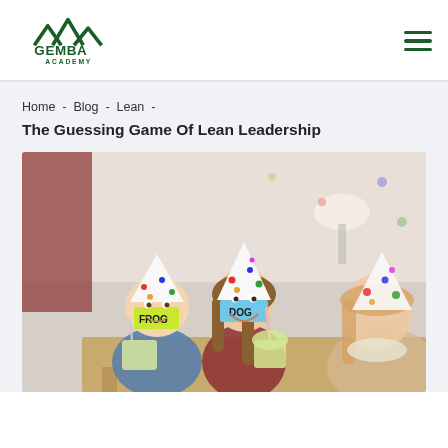[Figure (logo): Gemba Academy logo with mountain peaks and text]
Home - Blog - Lean -
The Guessing Game Of Lean Leadership
[Figure (photo): Three children wearing polka-dot party hats sitting at a table with drinks. The boy on the left has a sticky note on his forehead reading FROG, the girl in the middle has a sticky note reading DOG. They appear to be playing a guessing game.]